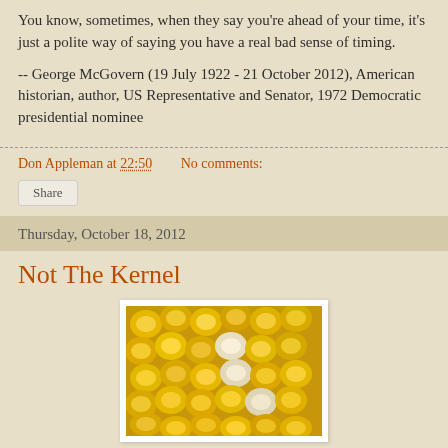You know, sometimes, when they say you're ahead of your time, it's just a polite way of saying you have a real bad sense of timing.
-- George McGovern (19 July 1922 - 21 October 2012), American historian, author, US Representative and Senator, 1972 Democratic presidential nominee
Don Appleman at 22:50   No comments:
Share
Thursday, October 18, 2012
Not The Kernel
[Figure (photo): Close-up photograph of yellow corn kernels on a cob, showing detailed texture of the kernels]